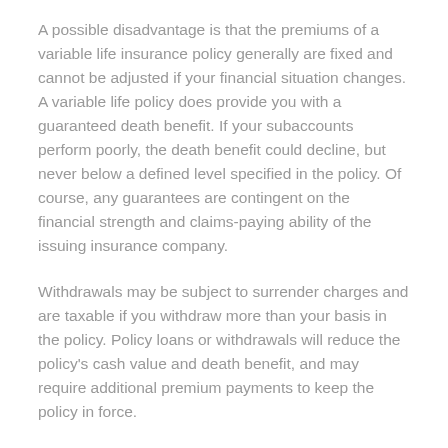A possible disadvantage is that the premiums of a variable life insurance policy generally are fixed and cannot be adjusted if your financial situation changes. A variable life policy does provide you with a guaranteed death benefit. If your subaccounts perform poorly, the death benefit could decline, but never below a defined level specified in the policy. Of course, any guarantees are contingent on the financial strength and claims-paying ability of the issuing insurance company.
Withdrawals may be subject to surrender charges and are taxable if you withdraw more than your basis in the policy. Policy loans or withdrawals will reduce the policy's cash value and death benefit, and may require additional premium payments to keep the policy in force.
In sum, variable life offers the flexibility to design your own portfolio, together with the security of a